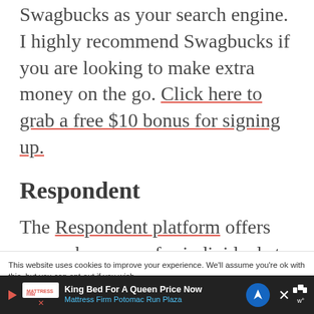Swagbucks as your search engine. I highly recommend Swagbucks if you are looking to make extra money on the go. Click here to grab a free $10 bonus for signing up.
Respondent
The Respondent platform offers research surveys for individuals to
This website uses cookies to improve your experience. We'll assume you're ok with this, but you can opt-out if you wish.
[Figure (infographic): Advertisement bar at bottom: Mattress Firm ad for King Bed For A Queen Price Now, Mattress Firm Potomac Run Plaza, with blue navigation icon and close button]